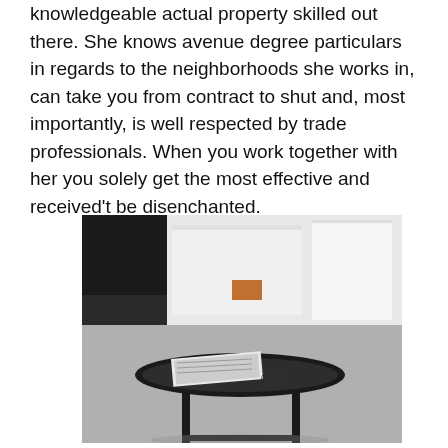knowledgeable actual property skilled out there. She knows avenue degree particulars in regards to the neighborhoods she works in, can take you from contract to shut and, most importantly, is well respected by trade professionals. When you work together with her you solely get the most effective and received't be disenchanted.
[Figure (photo): Black and white photograph of a round black tray table with a book/magazine resting on it, and blurred office/room items in the background including what appears to be white shelving and an orange object.]